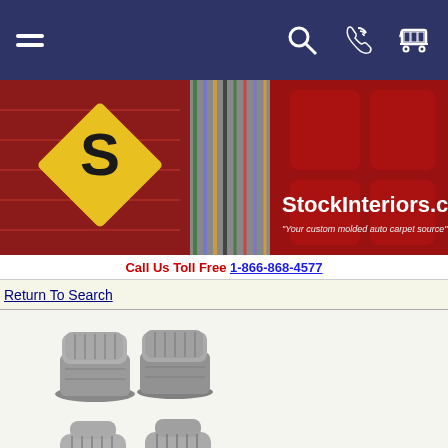[Figure (screenshot): Navigation bar with hamburger menu, search icon, phone icon, and cart icon on dark blue background]
[Figure (photo): StockInteriors.com banner showing carpet samples, yellow diamond S logo, red molded carpet, site name and tagline 'Your custom molded auto carpet source']
Call Us Toll Free 1-866-868-4577
Return To Search
[Figure (photo): Gray/taupe car bucket seat set - front seats shown from angle]
[Figure (photo): Gray/taupe car bucket seat set - sport seats shown from angle]